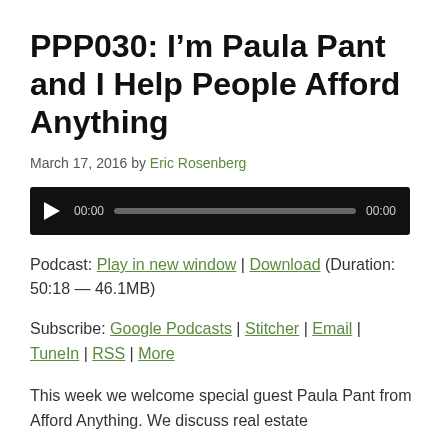PPP030: I’m Paula Pant and I Help People Afford Anything
March 17, 2016 by Eric Rosenberg
[Figure (other): Audio player widget with play button, time display 00:00, progress bar, and end time 00:00 on black background]
Podcast: Play in new window | Download (Duration: 50:18 — 46.1MB)
Subscribe: Google Podcasts | Stitcher | Email | TuneIn | RSS | More
This week we welcome special guest Paula Pant from Afford Anything. We discuss real estate